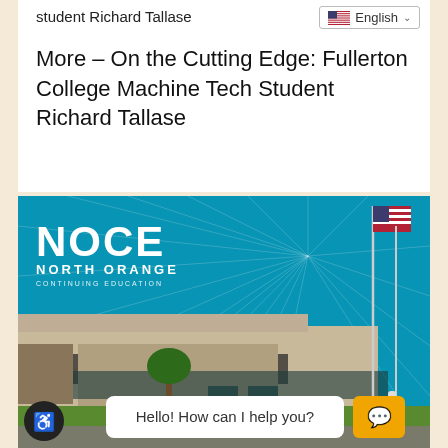student Richard Tallase
More – On the Cutting Edge: Fullerton College Machine Tech Student Richard Tallase
[Figure (photo): NOCE North Orange Continuing Education building exterior photo with teal background featuring radiating lines, flagpole with American flag, and a chat widget overlay saying 'Hello! How can I help you?']